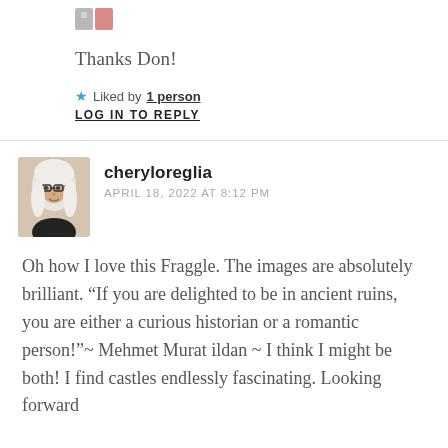[Figure (photo): Partial avatar/thumbnail image at top of page, cropped]
Thanks Don!
★ Liked by 1 person
LOG IN TO REPLY
[Figure (photo): Avatar photo of cheryloreglia: white-haired woman with glasses]
cheryloreglia
APRIL 18, 2022 AT 8:12 PM
Oh how I love this Fraggle. The images are absolutely brilliant. “If you are delighted to be in ancient ruins, you are either a curious historian or a romantic person!”~ Mehmet Murat ildan ~ I think I might be both! I find castles endlessly fascinating. Looking forward